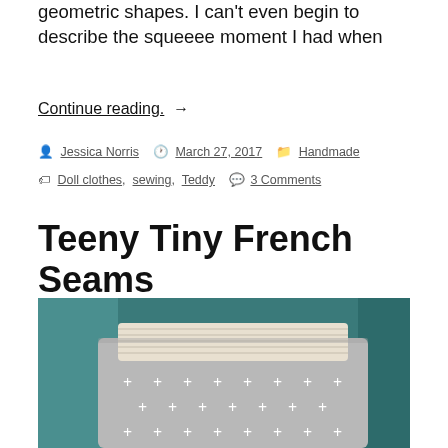geometric shapes. I can't even begin to describe the squeeee moment I had when
Continue reading. →
by Jessica Norris   March 27, 2017   Handmade
Doll clothes, sewing, Teddy   3 Comments
Teeny Tiny French Seams
[Figure (photo): Photo of baby shorts with a white elastic waistband and grey fabric with white plus/cross pattern, laid on a teal cushion]